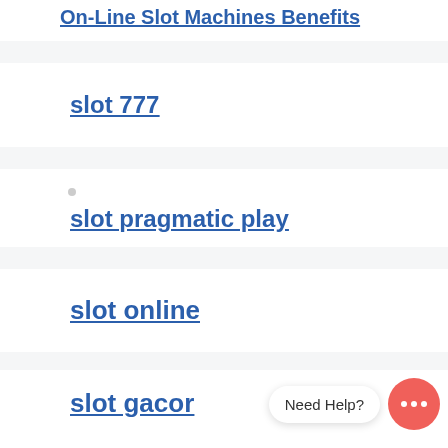On-Line Slot Machines Benefits
slot 777
slot pragmatic play
slot online
slot gacor